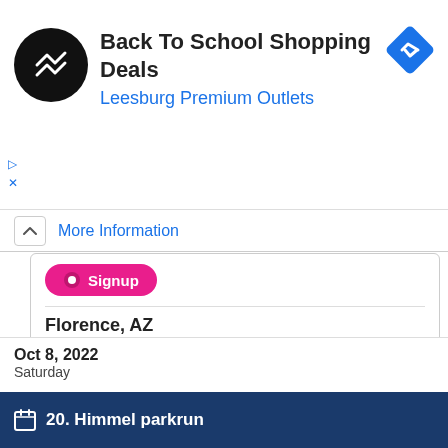[Figure (infographic): Ad banner: Back To School Shopping Deals at Leesburg Premium Outlets with circular logo and blue diamond navigation icon]
Back To School Shopping Deals
Leesburg Premium Outlets
More Information
[Figure (infographic): Signup button (pink/magenta pill shape)]
Florence, AZ
City Location
Pinal County, AZ
details  update  save  claim  feature
20. Himmel parkrun
Oct 8, 2022
Saturday